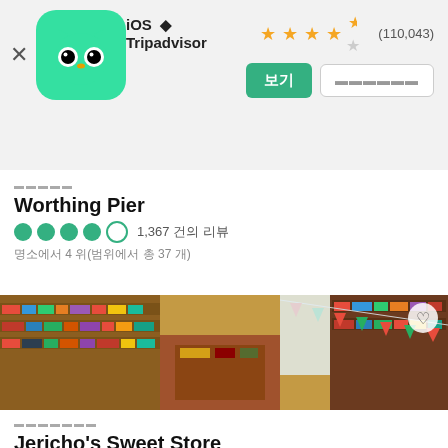[Figure (screenshot): iOS App Store Tripadvisor app header with green owl logo, star rating 4.5, and (110,043) reviews, with two buttons]
⠿⠿⠿⠿⠿
Worthing Pier
●●●●○ 1,367 건의 리뷰
명소에서 4 위(범위에서 총 37 개)
[Figure (photo): Interior of Jericho's Sweet Store on Worthing Pier showing shelves full of sweets, candy, toys with bunting decorations]
⠿⠿⠿⠿⠿⠿⠿
Jericho's Sweet Store
●●●●● 67 건의 리뷰